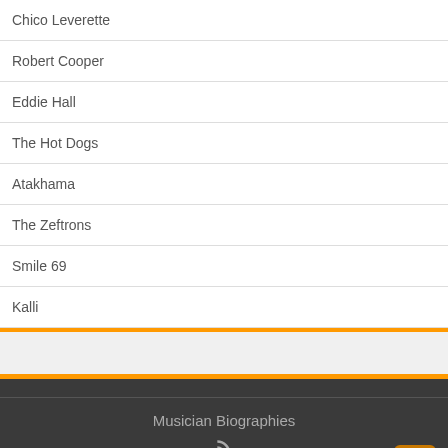Chico Leverette
Robert Cooper
Eddie Hall
The Hot Dogs
Atakhama
The Zeftrons
Smile 69
Kalli
Musician Biographies
© Copyright 2022, All Rights Reserved